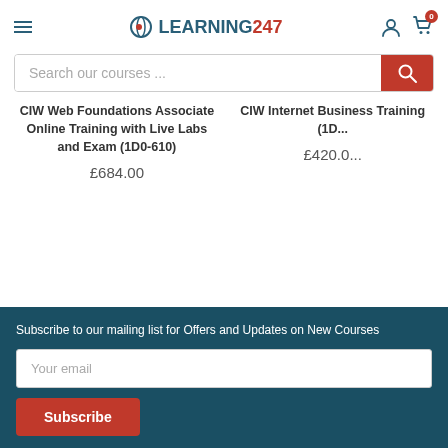[Figure (logo): Learning247 logo with hamburger menu, user icon, and cart icon with 0 badge]
Search our courses ...
CIW Web Foundations Associate Online Training with Live Labs and Exam (1D0-610)
£684.00
CIW Internet Business Training (1D...
£420.0...
Subscribe to our mailing list for Offers and Updates on New Courses
Your email
Subscribe